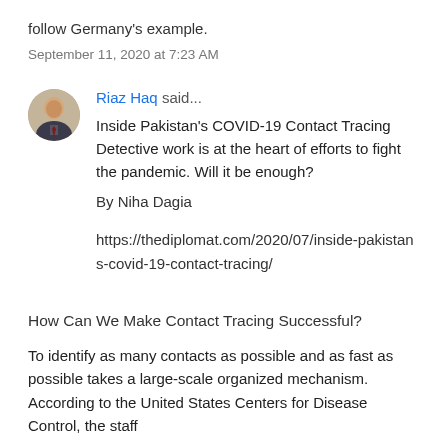follow Germany's example.
September 11, 2020 at 7:23 AM
Riaz Haq said...
Inside Pakistan's COVID-19 Contact Tracing Detective work is at the heart of efforts to fight the pandemic. Will it be enough?
By Niha Dagia
https://thediplomat.com/2020/07/inside-pakistans-covid-19-contact-tracing/
How Can We Make Contact Tracing Successful?
To identify as many contacts as possible and as fast as possible takes a large-scale organized mechanism. According to the United States Centers for Disease Control, the staff